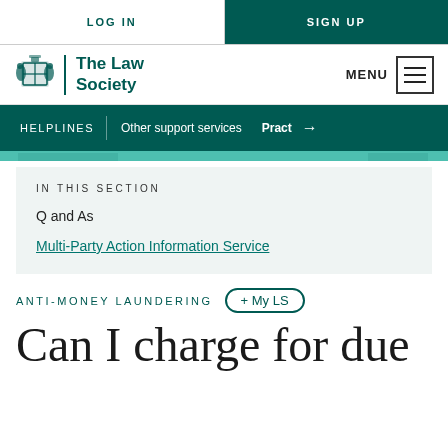LOG IN | SIGN UP
[Figure (logo): The Law Society crest logo with text 'The Law Society' and MENU hamburger icon]
HELPLINES | Other support services | Pract →
IN THIS SECTION
Q and As
Multi-Party Action Information Service
ANTI-MONEY LAUNDERING
+ My LS
Can I charge for due